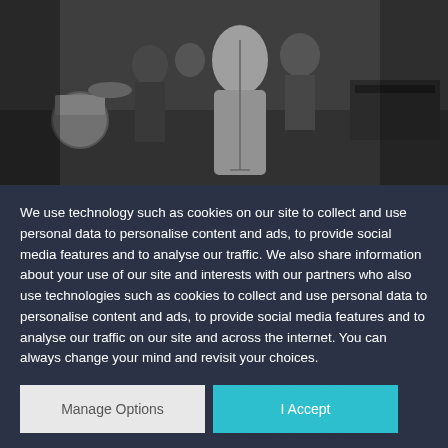[Figure (photo): Black and white photograph of a jazz or music performance on stage. A woman in a full-length gown stands at a microphone in the center, with musicians including a drummer visible on the left and other performers in the background.]
We use technology such as cookies on our site to collect and use personal data to personalise content and ads, to provide social media features and to analyse our traffic. We also share information about your use of our site and interests with our partners who also use technologies such as cookies to collect and use personal data to personalise content and ads, to provide social media features and to analyse our traffic on our site and across the internet. You can always change your mind and revisit your choices.